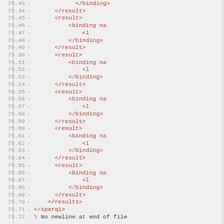[Figure (screenshot): Code viewer showing XML/SPARQL file lines 75.43 to 75.72, with line numbers in grey, dashes, and XML tags in red/pink. Last line shows a plain text message: \ No newline at end of file]